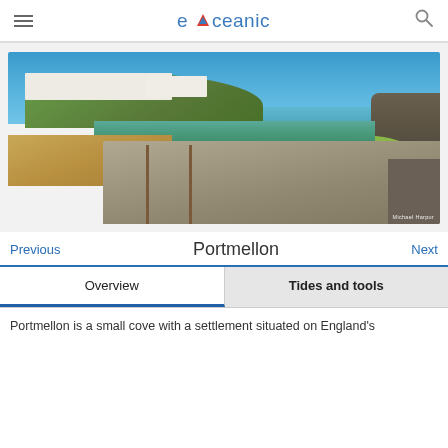eOceanic
[Figure (photo): Coastal panorama of Portmellon cove showing sandy beach, green-blue water, white-painted houses on a hillside, and a concrete slipway with metal rails in the foreground. Photo credit: Michael Harpur.]
Portmellon
Previous
Next
Overview
Tides and tools
Portmellon is a small cove with a settlement situated on England's